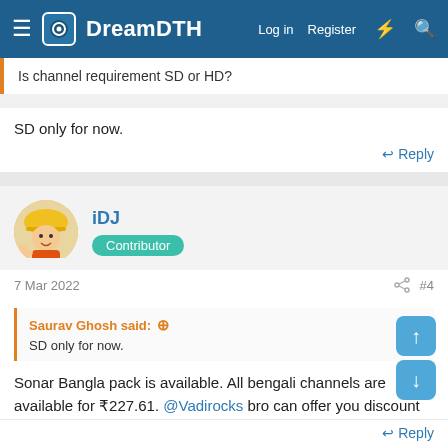DreamDTH — Log in  Register
Is channel requirement SD or HD?
SD only for now.
Reply
iDJ
Contributor
7 Mar 2022   #4
Saurav Ghosh said:
SD only for now.
Sonar Bangla pack is available. All bengali channels are available for ₹227.61. @Vadirocks bro can offer you discount for the new connection.